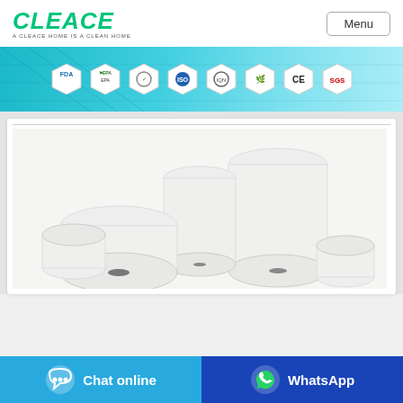[Figure (logo): CLEACE brand logo in green bold italic text with tagline 'A CLEACE HOME IS A CLEAN HOME']
[Figure (screenshot): Menu button (outlined rectangle) in top right corner]
[Figure (infographic): Teal banner with certification badges: FDA, EPA, and 6 other hexagonal certification icons including CE and SGS]
[Figure (photo): Product photo showing multiple white paper/nonwoven fabric rolls of various sizes arranged together on white background]
[Figure (infographic): Bottom action bar with two buttons: 'Chat online' (light blue) and 'WhatsApp' (dark blue) with respective icons]